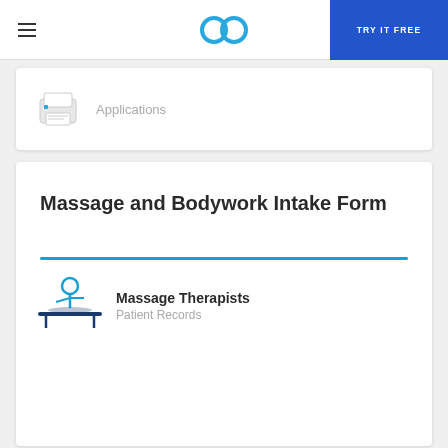TRY IT FREE
[Figure (logo): GoCanvas logo - two interlocking circles in teal/blue forming the letters go]
[Figure (illustration): Small printer/scanner device icon]
Applications
Massage and Bodywork Intake Form
[Figure (illustration): Massage therapist icon - teal figure performing massage on a patient]
Massage Therapists
Patient Records
Skin Care Client